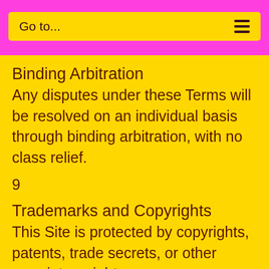Go to...
Binding Arbitration
Any disputes under these Terms will be resolved on an individual basis through binding arbitration, with no class relief.
9
Trademarks and Copyrights
This Site is protected by copyrights, patents, trade secrets, or other proprietary rights.
10